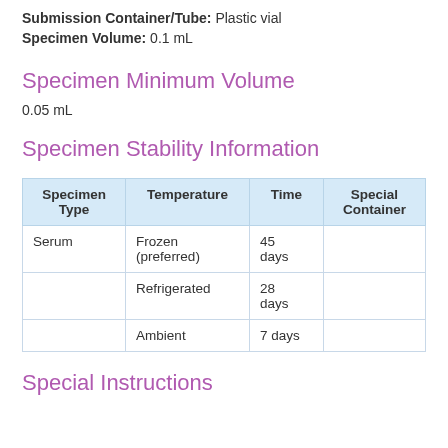Submission Container/Tube: Plastic vial
Specimen Volume: 0.1 mL
Specimen Minimum Volume
0.05 mL
Specimen Stability Information
| Specimen Type | Temperature | Time | Special Container |
| --- | --- | --- | --- |
| Serum | Frozen (preferred) | 45 days |  |
|  | Refrigerated | 28 days |  |
|  | Ambient | 7 days |  |
Special Instructions